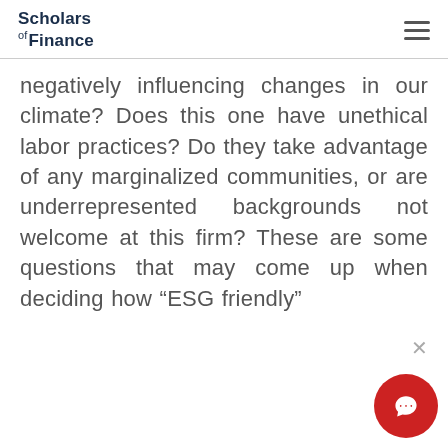Scholars of Finance
negatively influencing changes in our climate? Does this one have unethical labor practices? Do they take advantage of any marginalized communities, or are underrepresented backgrounds not welcome at this firm? These are some questions that may come up when deciding how “ESG friendly”